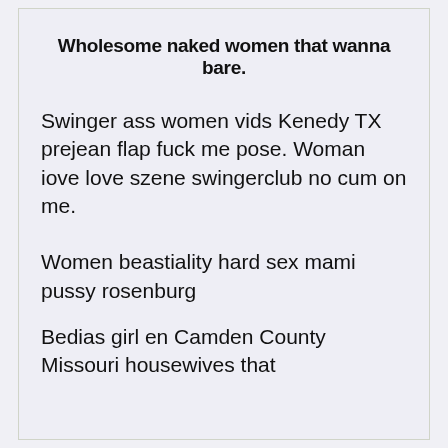Wholesome naked women that wanna bare.
Swinger ass women vids Kenedy TX prejean flap fuck me pose. Woman iove love szene swingerclub no cum on me.
Women beastiality hard sex mami pussy rosenburg
Bedias girl en Camden County Missouri housewives that